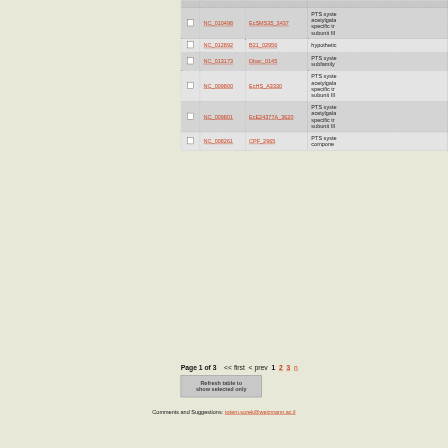|  | NC Accession | Gene | Description |
| --- | --- | --- | --- |
| ☐ | NC_010498 | EcSMS35_3437 | PTS system, acetylgalactosamine-specific transporter subunit III… |
| ☐ | NC_012892 | B21_02956 | hypothetic… |
| ☐ | NC_013173 | Dbac_0145 | PTS system subfamily… |
| ☐ | NC_009800 | EcHS_A3330 | PTS system, acetylgalactosamine-specific transporter subunit III… |
| ☐ | NC_009801 | EcE24377A_3620 | PTS system, acetylgalactosamine-specific transporter subunit III… |
| ☐ | NC_008261 | CPF_2965 | PTS system component… |
Page 1 of 3   << first  < prev  1  2  3  n…
Refresh table to show selected only
Comments and Suggestions: rotem.sorek@weizmann.ac.il